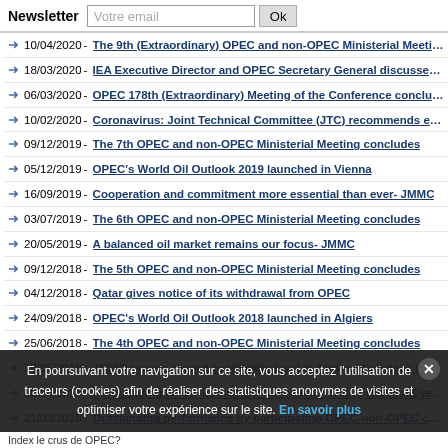Newsletter | Votre email | Ok
10/04/2020 - The 9th (Extraordinary) OPEC and non-OPEC Ministerial Meeting concludes
18/03/2020 - IEA Executive Director and OPEC Secretary General discussed the current situ...
06/03/2020 - OPEC 178th (Extraordinary) Meeting of the Conference concludes
10/02/2020 - Coronavirus: Joint Technical Committee (JTC) recommends extending product...
09/12/2019 - The 7th OPEC and non-OPEC Ministerial Meeting concludes
05/12/2019 - OPEC's World Oil Outlook 2019 launched in Vienna
16/09/2019 - Cooperation and commitment more essential than ever- JMMC
03/07/2019 - The 6th OPEC and non-OPEC Ministerial Meeting concludes
20/05/2019 - A balanced oil market remains our focus- JMMC
09/12/2018 - The 5th OPEC and non-OPEC Ministerial Meeting concludes
04/12/2018 - Qatar gives notice of its withdrawal from OPEC
24/09/2018 - OPEC's World Oil Outlook 2018 launched in Algiers
25/06/2018 - The 4th OPEC and non-OPEC Ministerial Meeting concludes
28/05/2018 - JMMC reports record conformity level in April and pledges to address consume...
20/04/2018 - Participating OPEC-non-OPEC Countries Achieve Highest Ever Conformity Le...
21/03/2018 - Outstanding performance by participating OPEC-non-OPEC countries leads to...
22/01/2018 - Participating countries conclude successful year with record-breaking conformi...
01/12/2017 - OPEC 173rd Meeting concludes
09/11/2017 - OPEC's World Oil Outlook 2017 launched in Vienna
30/2017 - JMMC reports highest ever conformity level
En poursuivant votre navigation sur ce site, vous acceptez l'utilisation de traceurs (cookies) afin de réaliser des statistiques anonymes de visites et optimiser votre expérience sur le site. En savoir plus
Index le crus de OPEC?